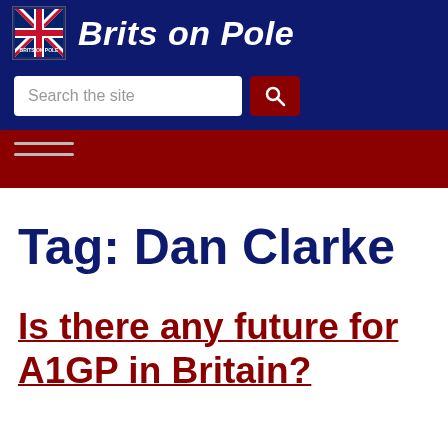Brits on Pole
Search the site
Tag: Dan Clarke
Is there any future for A1GP in Britain?